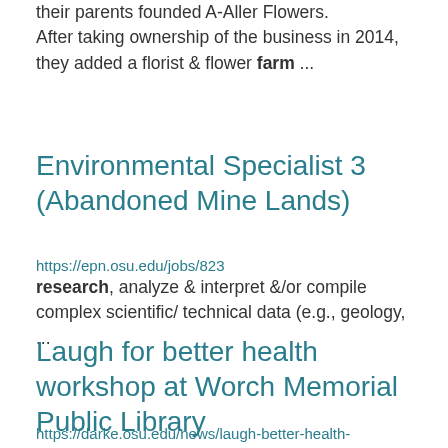their parents founded A-Aller Flowers. After taking ownership of the business in 2014, they added a florist & flower farm ...
Environmental Specialist 3 (Abandoned Mine Lands)
https://epn.osu.edu/jobs/823
research, analyze & interpret &/or compile complex scientific/ technical data (e.g., geology, ...
Laugh for better health workshop at Worch Memorial Public Library
https://darke.osu.edu/news/laugh-better-health-workshop-worch-memorial-public-library